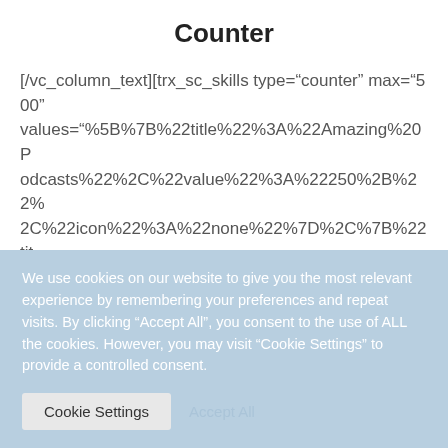Counter
[/vc_column_text][trx_sc_skills type="counter" max="500" values="%5B%7B%22title%22%3A%22Amazing%20Podcasts%22%2C%22value%22%3A%22250%2B%22%2C%22icon%22%3A%22none%22%7D%2C%7B%22title%22%3A%22Vieos%22%2C%22value%22%3A%22600k%22%2C%22icon%22%3A%22none%22%7D%2C
We use cookies on our website to give you the most relevant experience by remembering your preferences and repeat visits. By clicking "Accept All", you consent to the use of ALL the cookies. However, you may visit "Cookie Settings" to provide a controlled consent.
Cookie Settings    Accept All